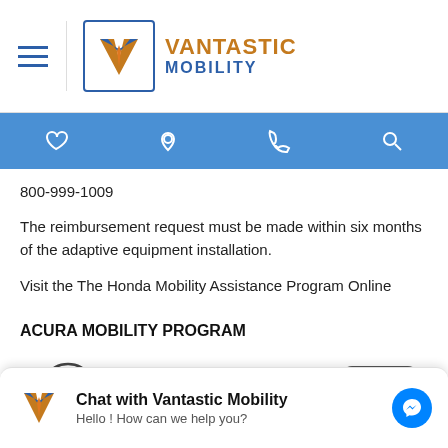Vantastic Mobility
[Figure (logo): Vantastic Mobility logo with blue V and orange flame, text VANTASTIC MOBILITY]
800-999-1009
The reimbursement request must be made within six months of the adaptive equipment installation.
Visit the The Honda Mobility Assistance Program Online
ACURA MOBILITY PROGRAM
[Figure (logo): Acura logo (partial) and car image (partial) at bottom of content area]
Chat with Vantastic Mobility
Hello ! How can we help you?